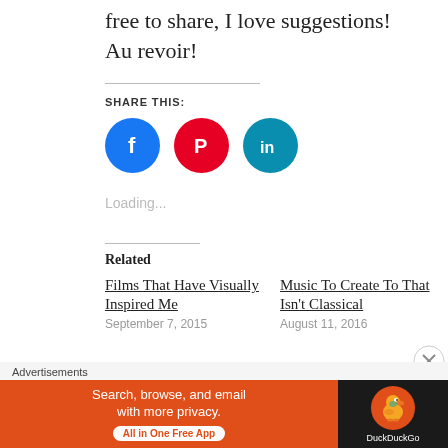free to share, I love suggestions! Au revoir!
SHARE THIS:
[Figure (infographic): Three social media icon buttons: Facebook (blue circle with f), Pinterest (red circle with P), LinkedIn (teal circle with in)]
Loading...
Related
Films That Have Visually Inspired Me
September 7, 2015
Music To Create To That Isn't Classical
August 11, 2016
Advertisements
[Figure (infographic): DuckDuckGo advertisement banner: orange left panel with white text 'Search, browse, and email with more privacy. All in One Free App' and a white pill-shaped button; dark right panel with DuckDuckGo duck logo and brand name.]